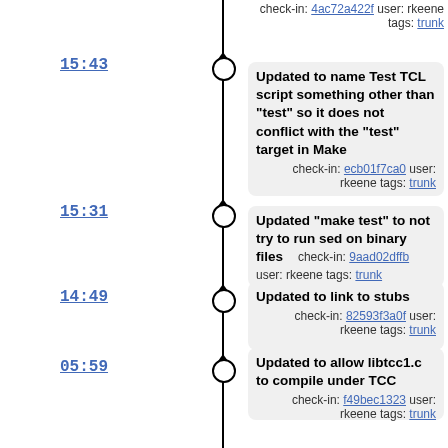check-in: 4ac72a422f user: rkeene tags: trunk
15:43 — Updated to name Test TCL script something other than "test" so it does not conflict with the "test" target in Make — check-in: ecb01f7ca0 user: rkeene tags: trunk
15:31 — Updated "make test" to not try to run sed on binary files — check-in: 9aad02dffb user: rkeene tags: trunk
14:49 — Updated to link to stubs — check-in: 82593f3a0f user: rkeene tags: trunk
05:59 — Updated to allow libtcc1.c to compile under TCC — check-in: f49bec1323 user: rkeene tags: trunk
05:55 — Updated to use "tcc" to produce object files on Mac OS X — check-in: 929a77707a user: rkeene tags: trunk
05:54 — Updated to process stray slashes more liberally — check-in: a67fcde598 user: rkeene tags: trunk
05:23 — Updated to use fully qualified path names for